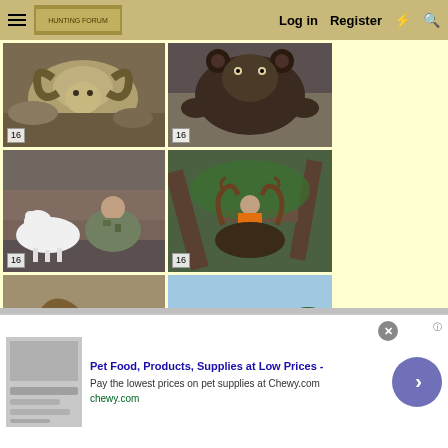Log in  Register
[Figure (photo): Thumbnail photo of bighorn sheep with curled horns, badge showing 16]
[Figure (photo): Thumbnail photo of bear skull/hide from above, badge showing 16]
[Figure (photo): Thumbnail photo of hunter with mountain goat, badge showing 16]
[Figure (photo): Thumbnail photo of hunter in orange vest with moose/elk antlers in forest, badge showing 16]
[Figure (photo): Thumbnail photo of hunter with bighorn sheep, badge showing 16]
[Figure (photo): Thumbnail photo of hunter posing with leopard, badge showing 15]
Pet Food, Products, Supplies at Low Prices -
Pay the lowest prices on pet supplies at Chewy.com
chewy.com